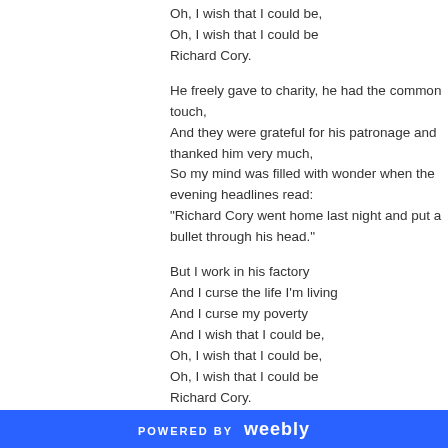Oh, I wish that I could be,
Oh, I wish that I could be
Richard Cory.
He freely gave to charity, he had the common touch,
And they were grateful for his patronage and thanked him very much,
So my mind was filled with wonder when the evening headlines read:
"Richard Cory went home last night and put a bullet through his head."
But I work in his factory
And I curse the life I'm living
And I curse my poverty
And I wish that I could be,
Oh, I wish that I could be,
Oh, I wish that I could be
Richard Cory.
Obviously I'm about to make the message of this song apply to self-pitying 30-something...
POWERED BY weebly